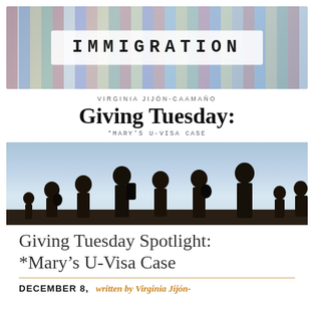[Figure (photo): Banner image with colorful country flags as background and a torn-paper style label reading IMMIGRATION in bold monospace font]
VIRGINIA JIJÓN-CAAMAÑO
Giving Tuesday:
*MARY'S U-VISA CASE
[Figure (photo): Silhouette image of multiple people (adults and children) walking against a sky background, suggesting migrants or refugees in transit]
Giving Tuesday Spotlight: *Mary's U-Visa Case
DECEMBER 8,
written by Virginia Jijón-